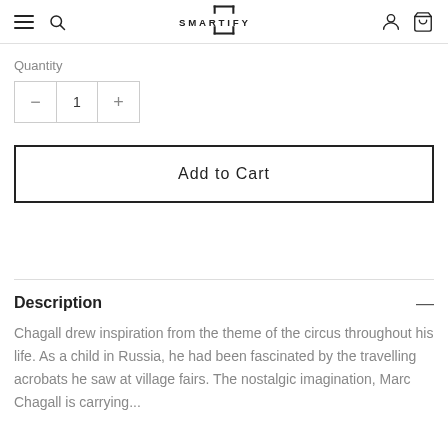SMARTIFY
Quantity
− 1 +
Add to Cart
Description
Chagall drew inspiration from the theme of the circus throughout his life. As a child in Russia, he had been fascinated by the travelling acrobats he saw at village fairs. The nostalgic imagination, Marc Chagall is carrying...